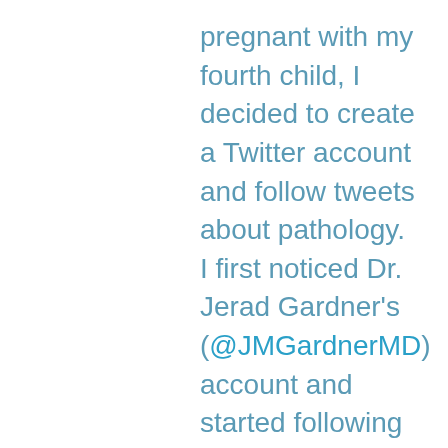pregnant with my fourth child, I decided to create a Twitter account and follow tweets about pathology. I first noticed Dr. Jerad Gardner's (@JMGardnerMD) account and started following him. Twitter was a bit difficult to use, but over time I got used to it. I understood the importance of hashtags. Then I started following pathologists who shared regularly. I was reading so many pathology tweets on my Twitter main page every day -- current articles, rare cases, tips...and from pathologists of various countries. I